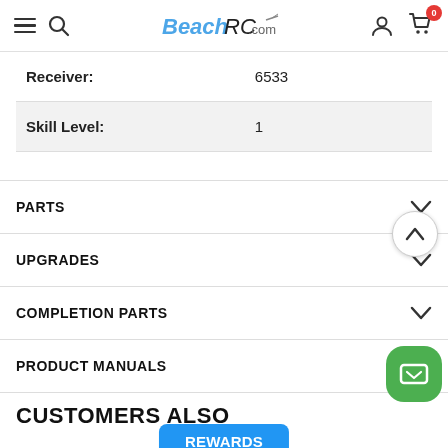BeachRC.com navigation bar with hamburger, search, logo, user, and cart icons
| Attribute | Value |
| --- | --- |
| Receiver: | 6533 |
| Skill Level: | 1 |
PARTS
UPGRADES
COMPLETION PARTS
PRODUCT MANUALS
CUSTOMERS ALSO (partial)
Rewards
[Figure (screenshot): Green chat/mail button in bottom right corner]